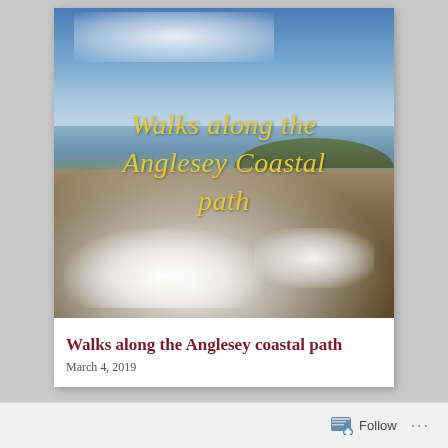[Figure (photo): Coastal beach photograph showing sea foam on a pebbly shore with waves, hills in the background, and a blue sky with clouds. Yellow cursive text overlay reads 'Walks along the Anglesey Coastal path'.]
Walks along the Anglesey coastal path
March 4, 2019